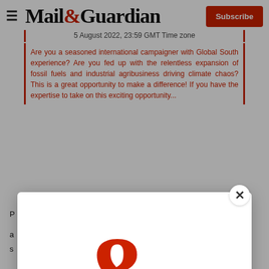Mail&Guardian
5 August 2022, 23:59 GMT Time zone
Are you a seasoned international campaigner with Global South experience? Are you fed up with the relentless expansion of fossil fuels and industrial agribusiness driving climate chaos? This is a great opportunity to make a difference! If you have the expertise to take on this exciting opportunity...
[Figure (logo): The Ampersand newsletter logo — a large red ampersand with 'THE AMPERSAND' text]
Stay informed. Every weekday.
E-mail Address
Signup now